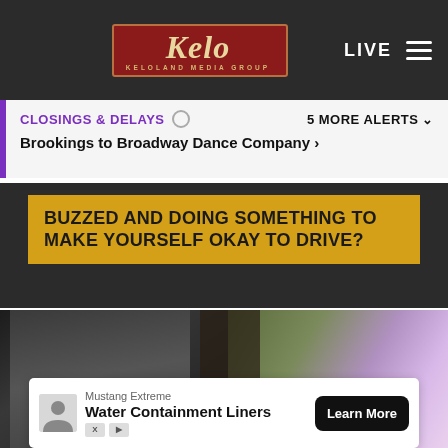[Figure (logo): KELO Keloland Media Group logo on dark navbar with LIVE text and hamburger menu]
CLOSINGS & DELAYS  5 MORE ALERTS ∨
Brookings to Broadway Dance Company ›
BUZZED AND DOING SOMETHING TO MAKE YOURSELF OKAY TO DRIVE?
[Figure (photo): Person looking down at something in a store with flowers in the background]
Mustang Extreme
Water Containment Liners
Learn More